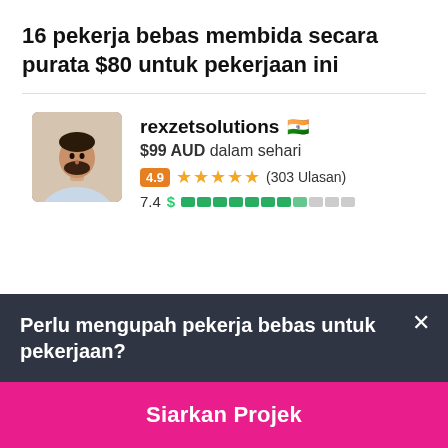16 pekerja bebas membida secara purata $80 untuk pekerjaan ini
[Figure (photo): Avatar photo of freelancer rexzetsolutions, a man in a light blue shirt]
rexzetsolutions 🇮🇳
$99 AUD dalam sehari
4.9 ★★★★★ (303 Ulasan)
7.4 $ ▓▓▓▓▓▓▓▓░░
Perlu mengupah pekerja bebas untuk pekerjaan?
Siarkan Projek